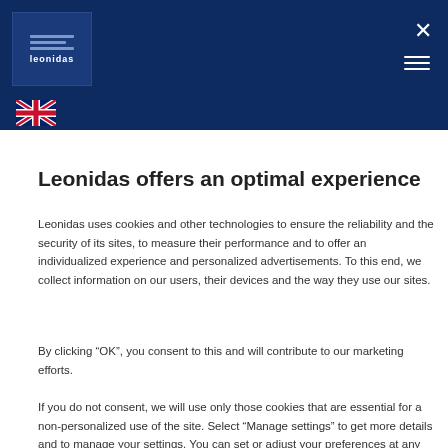[Figure (screenshot): Dark navy blue header banner with Leonidas logo box (white lines and text), an X close button top-right, hamburger menu lines below the X, and a UK flag icon at bottom-left of banner]
Leonidas offers an optimal experience
Leonidas uses cookies and other technologies to ensure the reliability and the security of its sites, to measure their performance and to offer an individualized experience and personalized advertisements. To this end, we collect information on our users, their devices and the way they use our sites.
By clicking “OK”, you consent to this and will contribute to our marketing efforts.
If you do not consent, we will use only those cookies that are essential for a non-personalized use of the site. Select “Manage settings” to get more details and to manage your settings. You can set or adjust your preferences at any time.